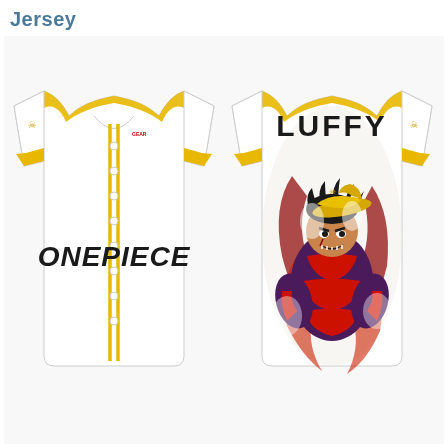Jersey
[Figure (photo): Product photo showing front and back views of a white baseball jersey. Front view (left): white jersey with gold/yellow trim on collar, button placket, and sleeve cuffs, with 'ONEPIECE' printed in bold black collegiate font on the chest, and a small skull-and-crossbones logo on the left sleeve. Back view (right): same white jersey with gold trim, 'LUFFY' printed in bold black text across the upper back, and a full graphic print of Monkey D. Luffy in Gear Fourth form (muscular, enlarged body with red/dark swirling patterns) covering the back of the jersey, with a small skull logo on the right sleeve.]